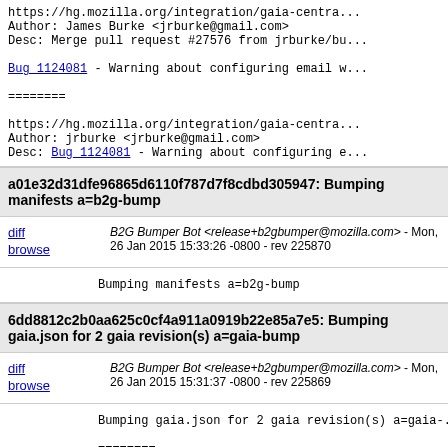https://hg.mozilla.org/integration/gaia-central...
Author: James Burke <jrburke@gmail.com>
Desc: Merge pull request #27576 from jrburke/bu...

Bug_1124081 - Warning about configuring email w...

========

https://hg.mozilla.org/integration/gaia-central...
Author: jrburke <jrburke@gmail.com>
Desc: Bug_1124081 - Warning about configuring e...
a01e32d31dfe96865d6110f787d7f8cdbd305947: Bumping manifests a=b2g-bump
B2G Bumper Bot <release+b2gbumper@mozilla.com> - Mon, 26 Jan 2015 15:33:26 -0800 - rev 225870
Bumping manifests a=b2g-bump
6dd8812c2b0aa625c0cf4a911a0919b22e85a7e5: Bumping gaia.json for 2 gaia revision(s) a=gaia-bump
B2G Bumper Bot <release+b2gbumper@mozilla.com> - Mon, 26 Jan 2015 15:31:37 -0800 - rev 225869
Bumping gaia.json for 2 gaia revision(s) a=gaia-...

========